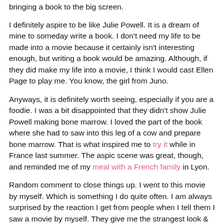bringing a book to the big screen.
I definitely aspire to be like Julie Powell. It is a dream of mine to someday write a book. I don't need my life to be made into a movie because it certainly isn't interesting enough, but writing a book would be amazing. Although, if they did make my life into a movie, I think I would cast Ellen Page to play me. You know, the girl from Juno.
Anyways, it is definitely worth seeing, especially if you are a foodie. I was a bit disappointed that they didn't show Julie Powell making bone marrow. I loved the part of the book where she had to saw into this leg of a cow and prepare bone marrow. That is what inspired me to try it while in France last summer. The aspic scene was great, though, and reminded me of my meal with a French family in Lyon.
Random comment to close things up. I went to this movie by myself. Which is something I do quite often. I am always surprised by the reaction I get from people when I tell them I saw a movie by myself. They give me the strangest look & say something like - 'really? You went by yourself?' I don't get it. It's not like you talk to someone during a movie, so I